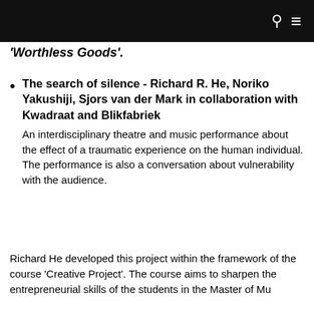'Worthless Goods'.
The search of silence - Richard R. He, Noriko Yakushiji, Sjors van der Mark in collaboration with Kwadraat and Blikfabriek
An interdisciplinary theatre and music performance about the effect of a traumatic experience on the human individual. The performance is also a conversation about vulnerability with the audience.
Richard He developed this project within the framework of the course 'Creative Project'. The course aims to sharpen the entrepreneurial skills of the students in the Master of Music programme. The choice of material, the